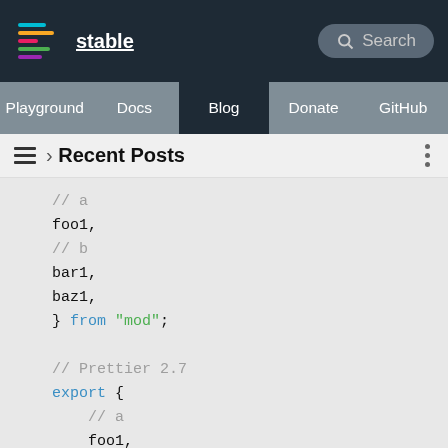stable | Search | Playground | Docs | Blog | Donate | GitHub
› Recent Posts
[Figure (screenshot): Code block showing JavaScript/TypeScript export syntax with comments. Two code blocks: one ending with '// a', 'foo1,', '// b', 'bar1,', 'baz1,', '} from "mod";' and another starting '// Prettier 2.7', 'export {', '// a', 'foo1,', '// b', 'bar1,', 'baz1,']